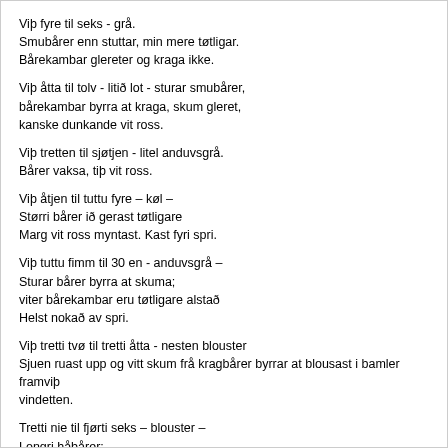Viþ fyre til seks - grå.
Smubårer enn stuttar, min mere tøtligar.
Bårekambar glereter og kraga ikke.
Viþ åtta til tolv - litið lot - sturar smubårer,
bårekambar byrra at kraga, skum gleret,
kanske dunkande vit ross.
Viþ tretten til sjøtjen - litel anduvsgrå.
Bårer vaksa, tiþ vit ross.
Viþ åtjen til tuttu fyre – køl –
Størri bårer ið gerast tøtligare
Marg vit ross myntast. Kast fyri spri.
Viþ tuttu fimm til 30 en - anduvsgrå –
Sturar bårer byrra at skuma;
viter bårekambar eru tøtligare alstað
Helst nokað av spri.
Viþ tretti tvø til tretti åtta - nesten blouster
Sjuen ruast upp og vitt skum frå kragbårer byrrar at blousast i bamler framviþ vindetten.
Tretti nie til fjørti seks – blouster –
Longri håbårer;
bårekambar gerast til spri.
Skumið blesest i velmerkter bemlar viþ vindetten.